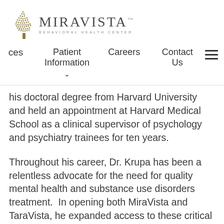[Figure (logo): MiraVista Behavioral Health Center logo with decorative tree and text]
ces    Patient Information ˅    Careers    Contact Us    ≡
his doctoral degree from Harvard University and held an appointment at Harvard Medical School as a clinical supervisor of psychology and psychiatry trainees for ten years.
Throughout his career, Dr. Krupa has been a relentless advocate for the need for quality mental health and substance use disorders treatment.  In opening both MiraVista and TaraVista, he expanded access to these critical